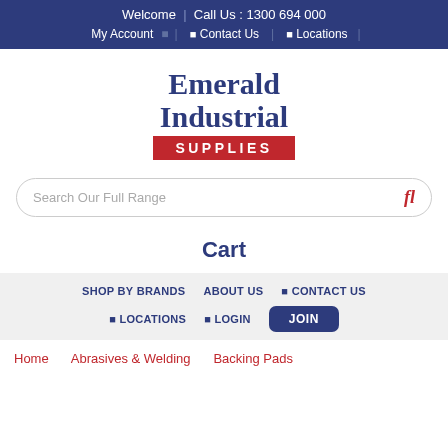Welcome | Call Us : 1300 694 000
My Account | Contact Us | Locations
[Figure (logo): Emerald Industrial Supplies logo — blue serif text reading 'Emerald Industrial' above a red banner reading 'SUPPLIES']
Search Our Full Range
Cart
SHOP BY BRANDS   ABOUT US   CONTACT US   LOCATIONS   LOGIN   JOIN
Home   Abrasives & Welding   Backing Pads